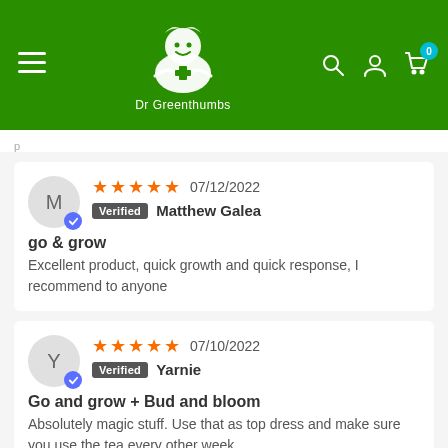[Figure (logo): Dr Greenthumbs website header with logo, hamburger menu, search, account, and cart icons on green background]
★★★★★ 07/12/2022
Verified Matthew Galea
go & grow
Excellent product, quick growth and quick response, I recommend to anyone
★★★★★ 07/10/2022
Verified Yarnie
Go and grow + Bud and bloom
Absolutely magic stuff. Use that as top dress and make sure you use the tea every other week